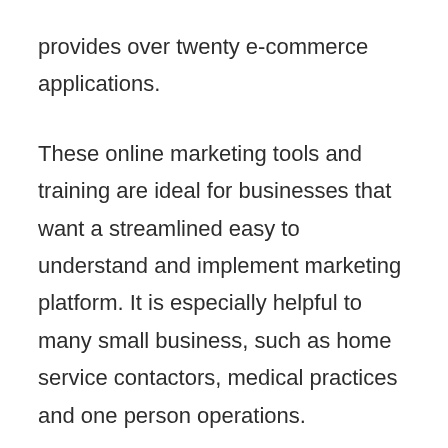provides over twenty e-commerce applications.
These online marketing tools and training are ideal for businesses that want a streamlined easy to understand and implement marketing platform. It is especially helpful to many small business, such as home service contactors, medical practices and one person operations.
As the marketing software includes tools for